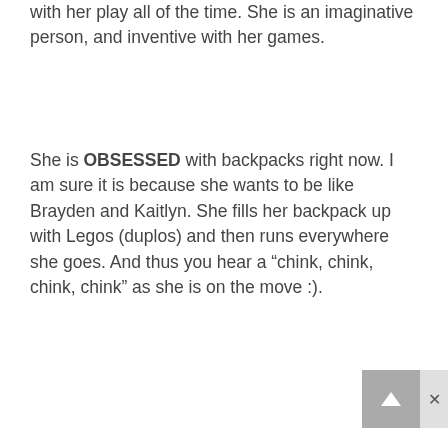with her play all of the time. She is an imaginative person, and inventive with her games.
She is OBSESSED with backpacks right now. I am sure it is because she wants to be like Brayden and Kaitlyn. She fills her backpack up with Legos (duplos) and then runs everywhere she goes. And thus you hear a “chink, chink, chink, chink” as she is on the move :).